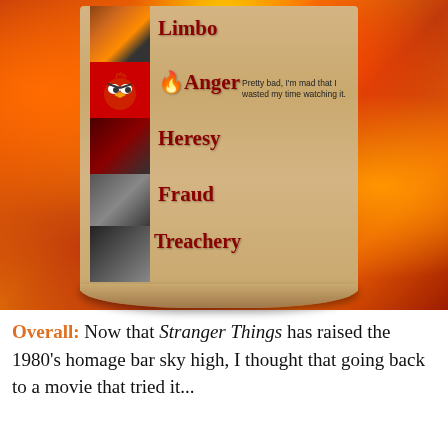[Figure (infographic): A scroll with Dante's Inferno circles (Limbo, Anger, Heresy, Fraud, Treachery) displayed against a fiery flame background. Each circle has a thumbnail image. The Anger circle shows an Angry Birds character and the annotation: 'Pretty bad, I'm mad that I wasted my time watching it.']
Overall: Now that Stranger Things has raised the 1980's homage bar sky high, I thought that going back to a movie that tried it...